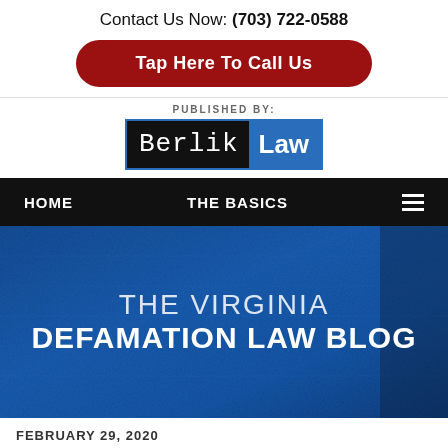Contact Us Now: (703) 722-0588
Tap Here To Call Us
PUBLISHED BY:
[Figure (logo): BerlikLaw logo with black left half (serif/monospace 'Berlik') and blue right half (sans-serif 'Law'), bordered in blue]
HOME   THE BASICS
[Figure (photo): Blue textured background hero banner with 'THE VIRGINIA DEFAMATION LAW BLOG' in white text]
FEBRUARY 29, 2020